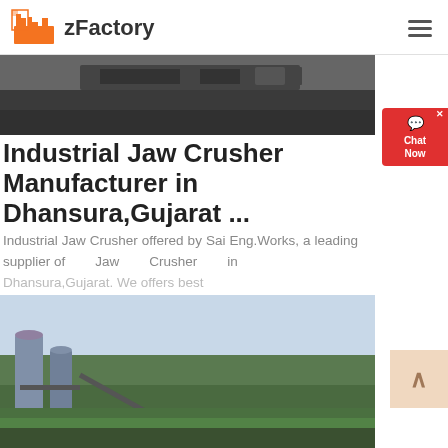zFactory
[Figure (photo): Top partial image showing dark industrial equipment/vehicle, cropped]
Industrial Jaw Crusher Manufacturer in Dhansura,Gujarat ...
Industrial Jaw Crusher offered by Sai Eng.Works, a leading supplier of Jaw Crusher in Dhansura,Gujarat. We offers best
[Figure (photo): Industrial jaw crusher and conveyor machinery at a quarry/mining site with silos, sandy terrain and trees in background]